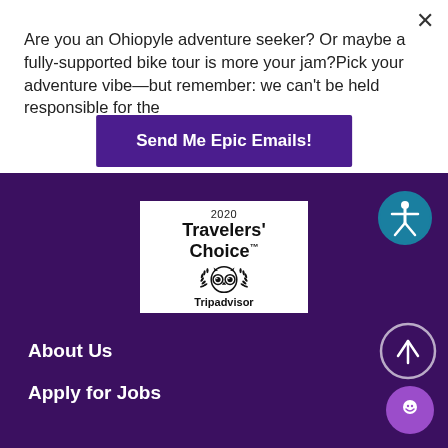Are you an Ohiopyle adventure seeker? Or maybe a fully-supported bike tour is more your jam?Pick your adventure vibe—but remember: we can't be held responsible for the
Send Me Epic Emails!
[Figure (logo): 2020 Travelers' Choice Tripadvisor award badge with TripAdvisor owl logo and laurel wreath]
[Figure (other): Accessibility icon: person with arms and legs spread in a circle, teal background]
[Figure (other): Scroll to top button: upward arrow in a white circle outline]
About Us
Apply for Jobs
[Figure (other): Chat bubble button in purple circle]